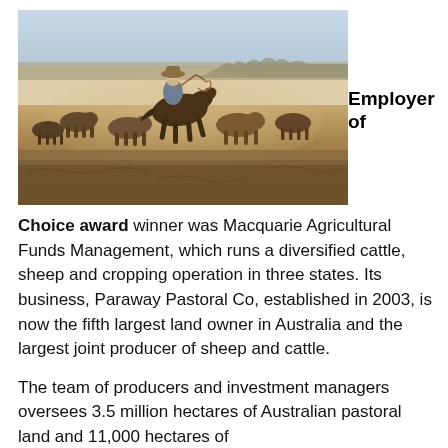[Figure (photo): A stockman on horseback herding a large mob of cattle across a dusty outback paddock, dust rising around the animals and rider.]
Employer of Choice award winner was Macquarie Agricultural Funds Management, which runs a diversified cattle, sheep and cropping operation in three states. Its business, Paraway Pastoral Co, established in 2003, is now the fifth largest land owner in Australia and the largest joint producer of sheep and cattle.
The team of producers and investment managers oversees 3.5 million hectares of Australian pastoral land and 11,000 hectares of